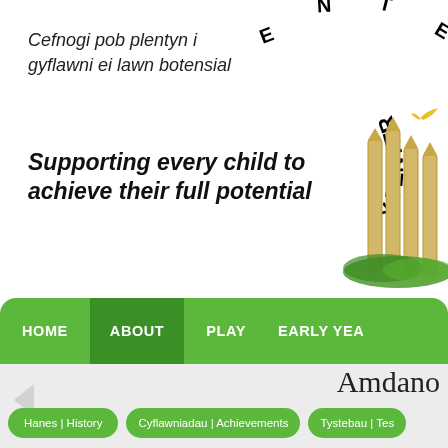Cefnogi pob plentyn i gyflawni ei lawn botensial
Supporting every child to achieve their full potential
[Figure (logo): Y Fenter logo with wooden posts and text arched around top right]
HOME | ABOUT | PLAY | EARLY YEA...
Amdano
Hanes | History
Cyflawniadau | Achievements
Tystebau | Tes...